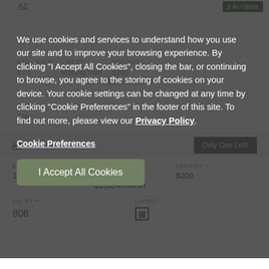A2
3 Available
BED / BATH  RENT*  DEPOSIT*
1 / 1  Starting from  $200
$1,788/month
SQ. FT **  LAYOUT
7...  [icon]
We use cookies and services to understand how you use our site and to improve your browsing experience. By clicking "I Accept All Cookies", closing the bar, or continuing to browse, you agree to the storing of cookies on your device. Your cookie settings can be changed at any time by clicking "Cookie Preferences" in the footer of this site. To find out more, please view our Privacy Policy.
Cookie Preferences
I Accept All Cookies
A3
Only One Left!
| BED / BATH | RENT* | DEPOSIT* |
| --- | --- | --- |
| 1 / 1 | Starting from
$1,824/month | $200 |
| SQ. FT ** | LAYOUT |
| --- | --- |
| 808 | [icon] |